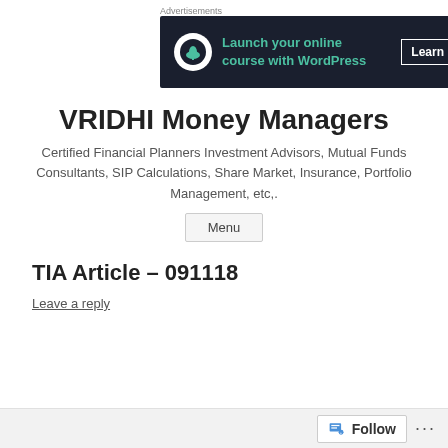Advertisements
[Figure (infographic): Dark banner ad: 'Launch your online course with WordPress' with a Learn More button and a bonsai tree logo icon]
REPORT THIS AD
VRIDHI Money Managers
Certified Financial Planners Investment Advisors, Mutual Funds Consultants, SIP Calculations, Share Market, Insurance, Portfolio Management, etc,.
Menu
TIA Article – 091118
Leave a reply